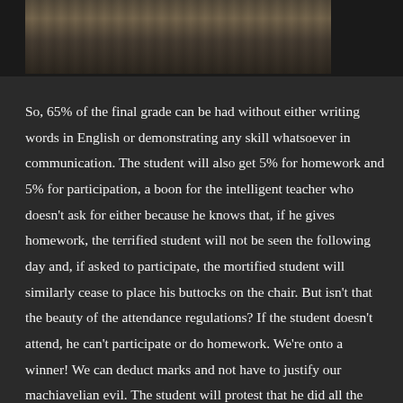[Figure (photo): Black and white photograph of a street scene with trees and buildings/signage visible in the background]
So, 65% of the final grade can be had without either writing words in English or demonstrating any skill whatsoever in communication. The student will also get 5% for homework and 5% for participation, a boon for the intelligent teacher who doesn't ask for either because he knows that, if he gives homework, the terrified student will not be seen the following day and, if asked to participate, the mortified student will similarly cease to place his buttocks on the chair. But isn't that the beauty of the attendance regulations? If the student doesn't attend, he can't participate or do homework. We're onto a winner! We can deduct marks and not have to justify our machiavelian evil. The student will protest that he did all the homework and participation required for the one hour out of sixty he was present but the teacher can legitimately ignore his pleas and, going against the customary grain, award no marks at all for doing nothing at all. I, of